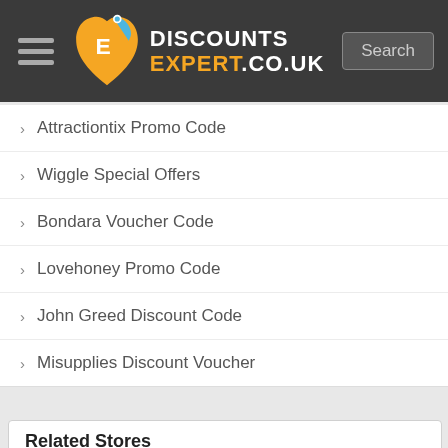DISCOUNTS EXPERT.CO.UK
Attractiontix Promo Code
Wiggle Special Offers
Bondara Voucher Code
Lovehoney Promo Code
John Greed Discount Code
Misupplies Discount Voucher
Related Stores
Huge savings with DiscountsExpert Promotional Codes, Vouchers, Deals and Offers
Car Rentals
Manchester Airport
Argus Car Hire
Airparks
CloudLearn
affordablecarhire